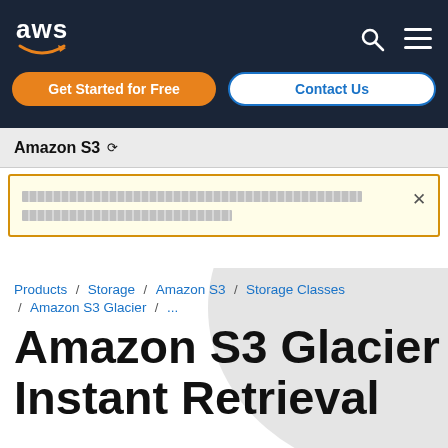aws
Get Started for Free
Contact Us
Amazon S3
[redacted notification text] × [redacted notification text continued]
Products / Storage / Amazon S3 / Storage Classes / Amazon S3 Glacier / ...
Amazon S3 Glacier Instant Retrieval